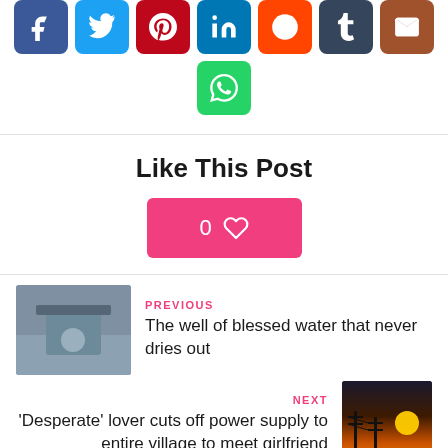[Figure (infographic): Social media share buttons row: Facebook (blue), Twitter (light blue), Pinterest (red), LinkedIn (dark blue), Reddit (orange), Tumblr (dark blue), Email (brown), and WhatsApp (green) icon buttons]
Like This Post
[Figure (infographic): Pink like button showing '0' with a heart icon]
PREVIOUS
The well of blessed water that never dries out
NEXT
'Desperate' lover cuts off power supply to entire village to meet girlfriend